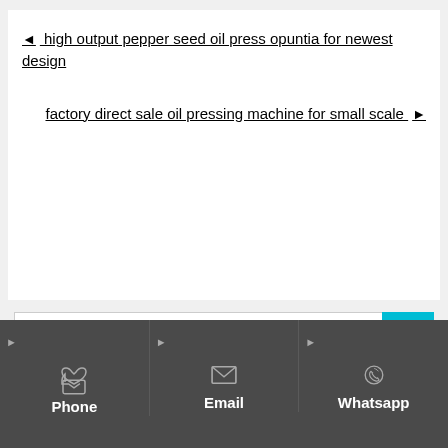◄ high output pepper seed oil press opuntia for newest design
factory direct sale oil pressing machine for small scale ►
Phone
Email
Whatsapp